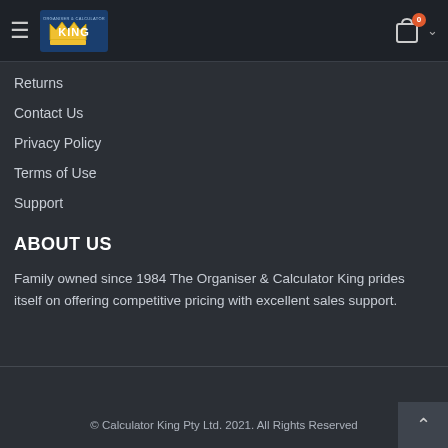Organiser & Calculator King — navigation header with hamburger menu, logo, cart (0), and chevron
Returns
Contact Us
Privacy Policy
Terms of Use
Support
ABOUT US
Family owned since 1984 The Organiser & Calculator King prides itself on offering competitive pricing with excellent sales support.
© Calculator King Pty Ltd. 2021. All Rights Reserved